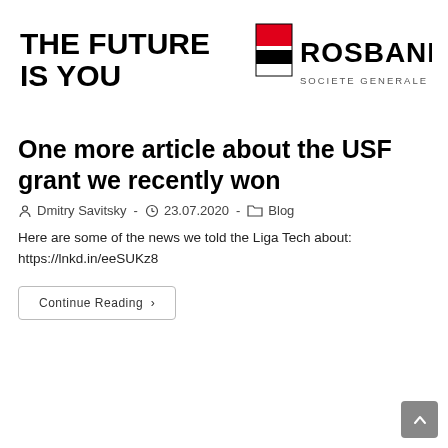[Figure (logo): Rosbank 'The Future Is You' logo with Societe Generale Group branding]
One more article about the USF grant we recently won
Dmitry Savitsky - 23.07.2020 - Blog
Here are some of the news we told the Liga Tech about:
https://lnkd.in/eeSUKz8
Continue Reading ›